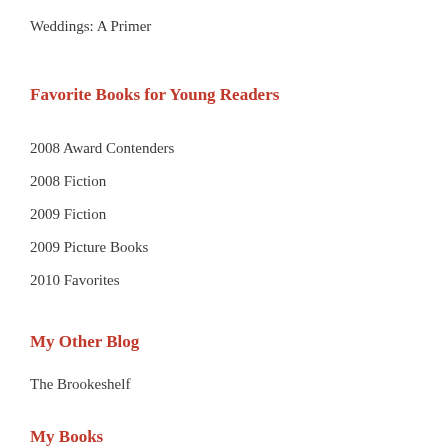Weddings: A Primer
Favorite Books for Young Readers
2008 Award Contenders
2008 Fiction
2009 Fiction
2009 Picture Books
2010 Favorites
My Other Blog
The Brookeshelf
My Books